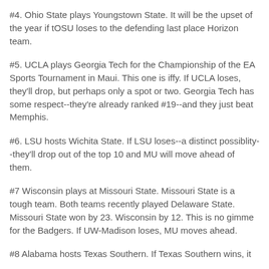#4. Ohio State plays Youngstown State. It will be the upset of the year if tOSU loses to the defending last place Horizon team.
#5. UCLA plays Georgia Tech for the Championship of the EA Sports Tournament in Maui. This one is iffy. If UCLA loses, they'll drop, but perhaps only a spot or two. Georgia Tech has some respect--they're already ranked #19--and they just beat Memphis.
#6. LSU hosts Wichita State. If LSU loses--a distinct possiblity--they'll drop out of the top 10 and MU will move ahead of them.
#7 Wisconsin plays at Missouri State. Missouri State is a tough team. Both teams recently played Delaware State. Missouri State won by 23. Wisconsin by 12. This is no gimme for the Badgers. If UW-Madison loses, MU moves ahead.
#8 Alabama hosts Texas Southern. If Texas Southern wins, it